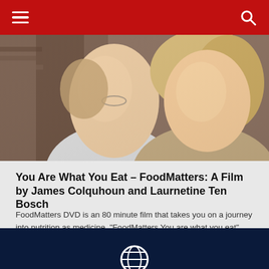Navigation bar with hamburger menu and search icon
[Figure (photo): Two people (man and woman) smiling, cropped close-up photo used as hero image]
You Are What You Eat – FoodMatters: A Film by James Colquhoun and Laurnetine Ten Bosch
FoodMatters DVD is an 80 minute film that takes you on a journey into nutrition as medicine. "FoodMatters You are what you eat" teaches the
Read More »
Globe icon footer